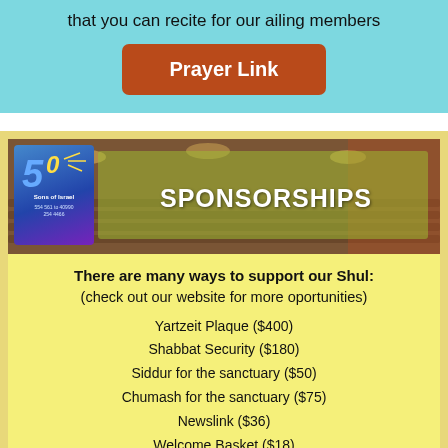that you can recite for our ailing members
Prayer Link
[Figure (illustration): Synagogue interior banner with Sons of Israel 50th anniversary logo on left, and 'SPONSORSHIPS' text on a semi-transparent green overlay on the right, over a warm brown interior photo background.]
There are many ways to support our Shul:
(check out our website for more oportunities)
Yartzeit Plaque ($400)
Shabbat Security ($180)
Siddur for the sanctuary ($50)
Chumash for the sanctuary ($75)
Newslink ($36)
Welcome Basket ($18)